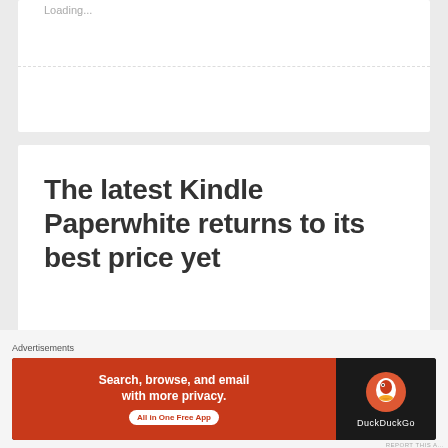Loading...
The latest Kindle Paperwhite returns to its best price yet
MARCH 24, 2022
MICHAEL
LEAVE A COMMENT
Advertisements
[Figure (screenshot): DuckDuckGo advertisement banner: orange left section with text 'Search, browse, and email with more privacy. All in One Free App' and dark right section with DuckDuckGo duck logo and brand name]